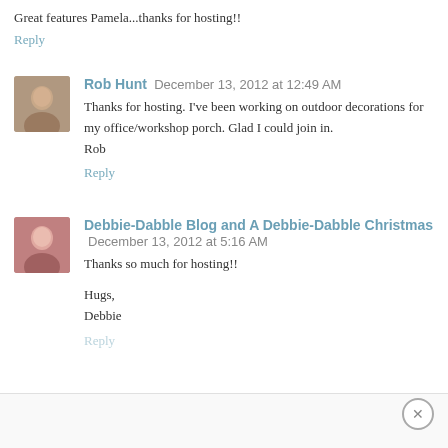Great features Pamela...thanks for hosting!!
Reply
Rob Hunt  December 13, 2012 at 12:49 AM
Thanks for hosting. I've been working on outdoor decorations for my office/workshop porch. Glad I could join in.
Rob
Reply
Debbie-Dabble Blog and A Debbie-Dabble Christmas  December 13, 2012 at 5:16 AM
Thanks so much for hosting!!

Hugs,
Debbie
Reply